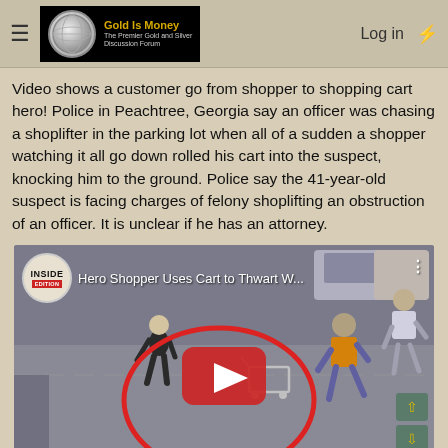Gold Is Money — The Premier Gold and Silver Discussion Forum | Log in
Video shows a customer go from shopper to shopping cart hero! Police in Peachtree, Georgia say an officer was chasing a shoplifter in the parking lot when all of a sudden a shopper watching it all go down rolled his cart into the suspect, knocking him to the ground. Police say the 41-year-old suspect is facing charges of felony shoplifting an obstruction of an officer. It is unclear if he has an attorney.
[Figure (screenshot): YouTube video thumbnail showing security camera footage of a parking lot. Inside Edition logo badge in top-left corner. Title reads 'Hero Shopper Uses Cart to Thwart W...'. A red circle is drawn around a person and shopping cart in the parking lot. A red YouTube play button is centered. Two people visible on the right side of the frame. Navigation arrows (up and down) on the right side.]